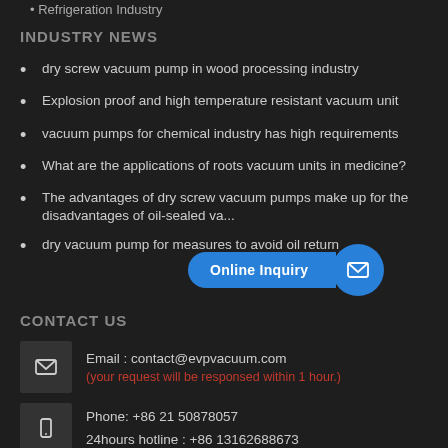Refrigeration Industry
INDUSTRY NEWS
dry screw vacuum pump in wood processing industry
Explosion proof and high temperature resistant vacuum unit
vacuum pumps for chemical industry has high requirements
What are the applications of roots vacuum units in medicine?
The advantages of dry screw vacuum pumps make up for the disadvantages of oil-sealed va...
dry vacuum pump for measures to avoid oil return
CONTACT US
Email : contact@evpvacuum.com
(your request will be responsed within 1 hour.)
Phone: +86 21 50878057
24hours hotline : +86 13162688673